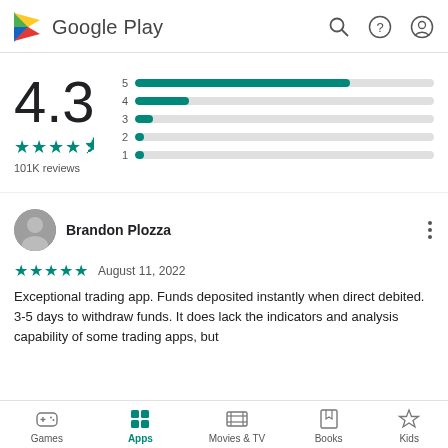Google Play
[Figure (bar-chart): Rating distribution]
4.3
101K reviews
Brandon Plozza
★★★★★  August 11, 2022
Exceptional trading app. Funds deposited instantly when direct debited. 3-5 days to withdraw funds. It does lack the indicators and analysis capability of some trading apps, but
Games   Apps   Movies & TV   Books   Kids